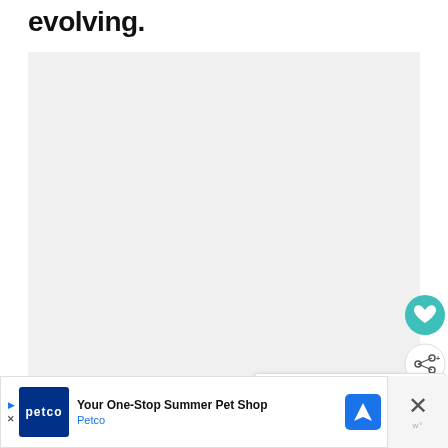evolving.
[Figure (photo): Large grey placeholder image area in the center of the page]
[Figure (infographic): Teal heart/favorite button icon (circular)]
[Figure (infographic): White circular share button with share icon]
[Figure (screenshot): WHAT'S NEXT card showing thumbnail and text 'How to make money as a...']
[Figure (infographic): Advertisement banner: Petco - Your One-Stop Summer Pet Shop with navigation icon and close button]